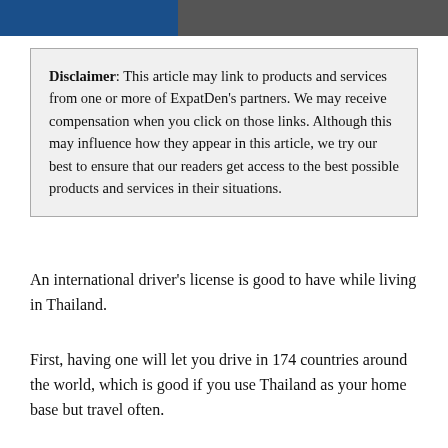[Figure (photo): Header image with blue banner on the left and a black and white photo on the right]
Disclaimer: This article may link to products and services from one or more of ExpatDen's partners. We may receive compensation when you click on those links. Although this may influence how they appear in this article, we try our best to ensure that our readers get access to the best possible products and services in their situations.
An international driver’s license is good to have while living in Thailand.
First, having one will let you drive in 174 countries around the world, which is good if you use Thailand as your home base but travel often.